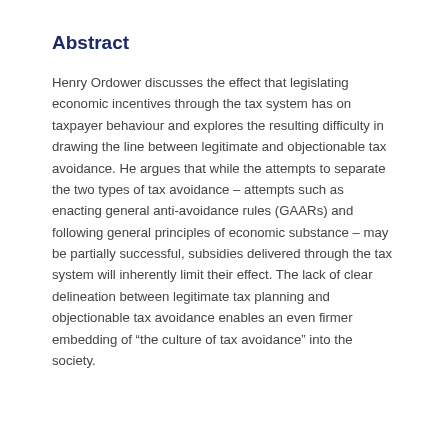Abstract
Henry Ordower discusses the effect that legislating economic incentives through the tax system has on taxpayer behaviour and explores the resulting difficulty in drawing the line between legitimate and objectionable tax avoidance. He argues that while the attempts to separate the two types of tax avoidance – attempts such as enacting general anti-avoidance rules (GAARs) and following general principles of economic substance – may be partially successful, subsidies delivered through the tax system will inherently limit their effect. The lack of clear delineation between legitimate tax planning and objectionable tax avoidance enables an even firmer embedding of “the culture of tax avoidance” into the society.